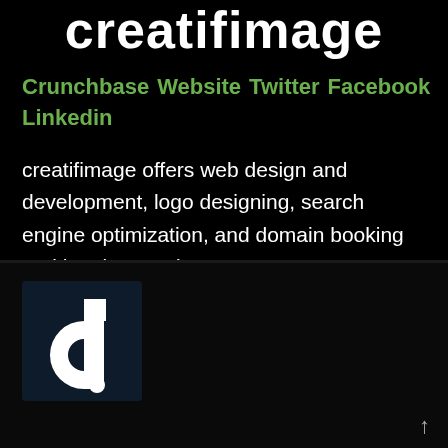creatifimage
Crunchbase Website Twitter Facebook Linkedin
creatifimage offers web design and development, logo designing, search engine optimization, and domain booking and hosting services.
[Figure (logo): creatifimage logo: dark navy blue square with white stylized letter 'd' and a small white square, on a black background]